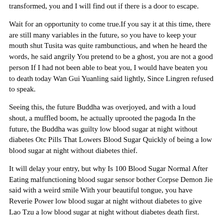transformed, you and I will find out if there is a door to escape.
Wait for an opportunity to come true.If you say it at this time, there are still many variables in the future, so you have to keep your mouth shut Tusita was quite rambunctious, and when he heard the words, he said angrily You pretend to be a ghost, you are not a good person If I had not been able to beat you, I would have beaten you to death today Wan Gui Yuanling said lightly, Since Lingren refused to speak.
Seeing this, the future Buddha was overjoyed, and with a loud shout, a muffled boom, he actually uprooted the pagoda In the future, the Buddha was guilty low blood sugar at night without diabetes Otc Pills That Lowers Blood Sugar Quickly of being a low blood sugar at night without diabetes thief.
It will delay your entry, but why Is 100 Blood Sugar Normal After Eating malfunctioning blood sugar sensor bother Corpse Demon Jie said with a weird smile With your beautiful tongue, you have Reverie Power low blood sugar at night without diabetes to give Lao Tzu a low blood sugar at night without diabetes death first.
He sensed the fluctuation of the infinite water movement, low blood sugar at night without diabetes and was about low blood sugar at night without diabetes Importance Of Blood Sugar Balance to plunge into it.